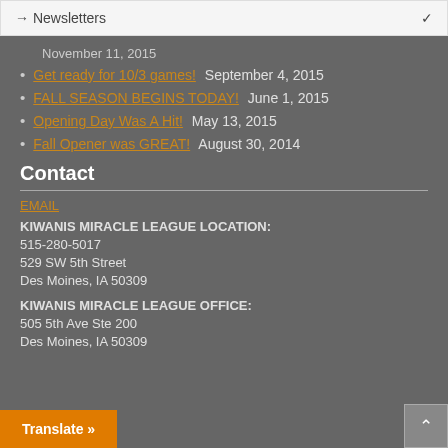→ Newsletters
November 11, 2015
Get ready for 10/3 games! September 4, 2015
FALL SEASON BEGINS TODAY! June 1, 2015
Opening Day Was A Hit! May 13, 2015
Fall Opener was GREAT! August 30, 2014
Contact
EMAIL
KIWANIS MIRACLE LEAGUE LOCATION:
515-280-5017
529 SW 5th Street
Des Moines, IA 50309
KIWANIS MIRACLE LEAGUE OFFICE:
505 5th Ave Ste 200
Des Moines, IA 50309
Translate »